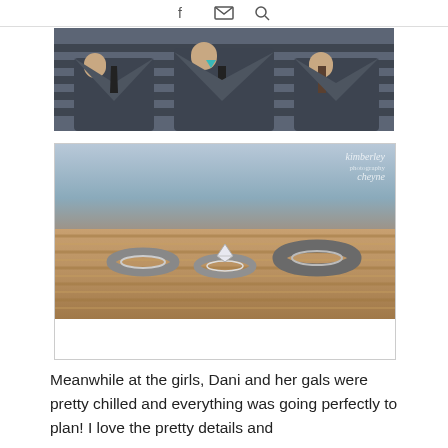f [mail] [search]
[Figure (photo): Three groomsmen in dark grey suits standing together; the center one has a teal pocket square]
[Figure (photo): Three wedding rings displayed on a woven rope surface; one plain band on left, one diamond engagement ring in center, one wider band on right. Watermark reads 'kimberley photography cheyne']
Meanwhile at the girls, Dani and her gals were pretty chilled and everything was going perfectly to plan! I love the pretty details and